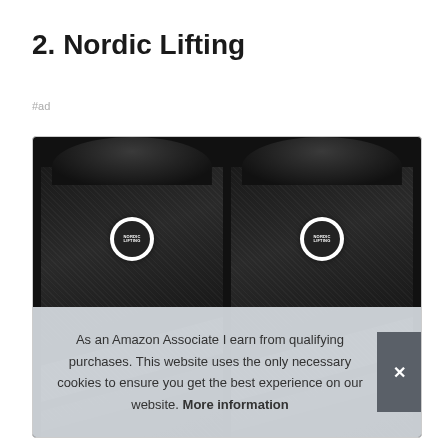2. Nordic Lifting
#ad
[Figure (photo): Two black Nordic Lifting knee sleeves side by side, showing the brand logo badges on the front of each sleeve. The sleeves have a dark textured fabric with grey diagonal accent stripes.]
As an Amazon Associate I earn from qualifying purchases. This website uses the only necessary cookies to ensure you get the best experience on our website. More information